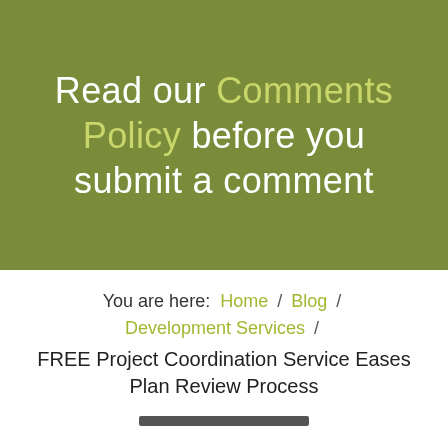[Figure (other): Olive green banner with large white and yellow-green text reading: Read our Comments Policy before you submit a comment]
You are here: Home / Blog / Development Services / FREE Project Coordination Service Eases Plan Review Process